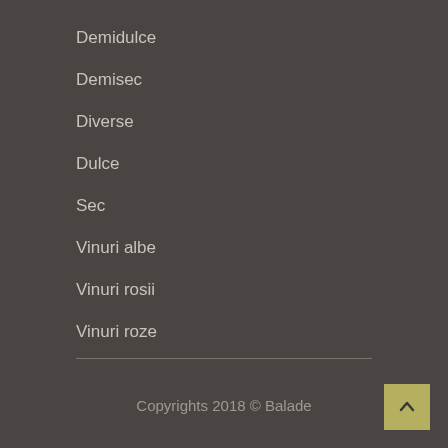Demidulce
Demisec
Diverse
Dulce
Sec
Vinuri albe
Vinuri rosii
Vinuri roze
Copyrights 2018 © Balade